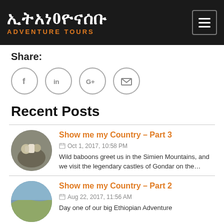ኢትአነ0ዮናሰቡ ADVENTURE TOURS
Share:
[Figure (infographic): Four social media share icons in circles: Facebook (f), LinkedIn (in), Google+ (G+), Email (envelope)]
Recent Posts
[Figure (photo): Circular thumbnail photo of people in white robes]
Show me my Country – Part 3
Oct 1, 2017, 10:58 PM
Wild baboons greet us in the Simien Mountains, and we visit the legendary castles of Gondar on the…
[Figure (photo): Circular thumbnail photo of landscape with mountains]
Show me my Country – Part 2
Aug 22, 2017, 11:56 AM
Day one of our big Ethiopian Adventure